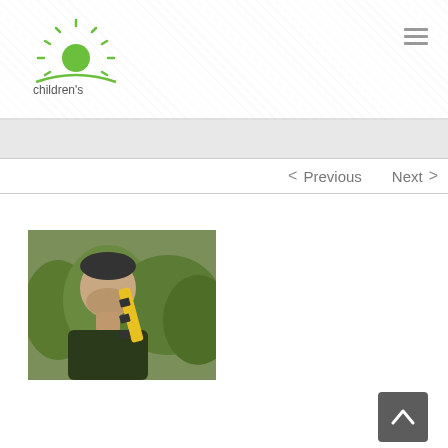[Figure (logo): Children's Future organization logo with green sun/rays icon above a curved green line, with text 'children's future' below]
[Figure (other): Hamburger menu icon (three horizontal lines) in top right corner]
< Previous   Next >
[Figure (photo): Close-up photo of a man with short hair and beard in an outdoor setting with green vegetation/bushes in background. He appears to be carrying something on his shoulder.]